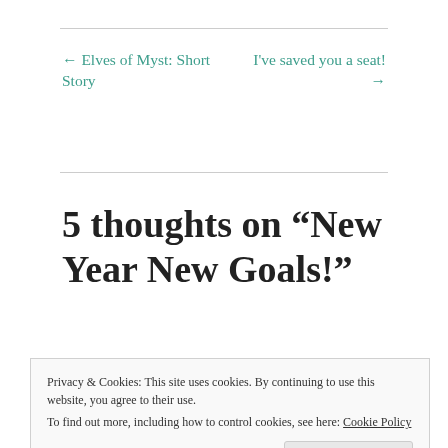← Elves of Myst: Short Story
I've saved you a seat! →
5 thoughts on “New Year New Goals!”
Privacy & Cookies: This site uses cookies. By continuing to use this website, you agree to their use.
To find out more, including how to control cookies, see here: Cookie Policy
Close and accept